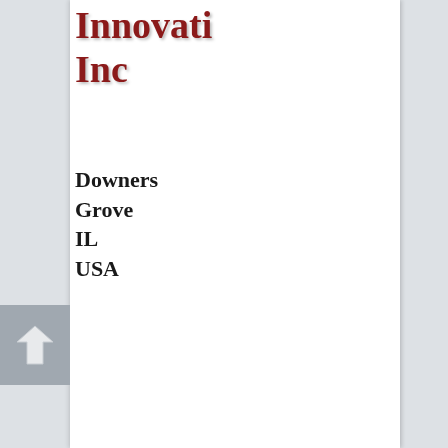Innovati Inc
Downers Grove IL USA